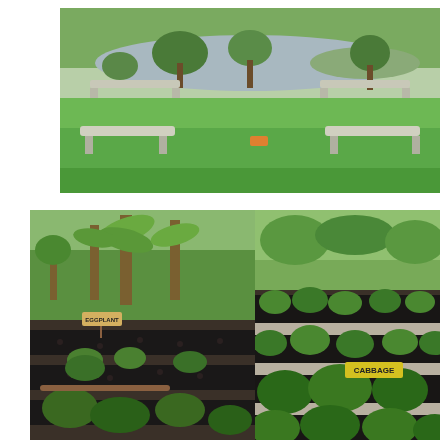[Figure (photo): Outdoor garden scene with a large fish pond or reflecting pool, stone benches in the foreground, green lawn, trees, and water plants. Watermark text 'michiphotostory.com' visible in lower right.]
[Figure (photo): Garden plot with young plants growing through black plastic mulch sheeting. Small sign reads 'EGGPLANT'. Banana trees and tropical foliage visible in background.]
[Figure (photo): Garden plot with mature cabbage plants growing in rows through black plastic mulch sheeting. Yellow sign with black text reads 'CABBAGE'.]